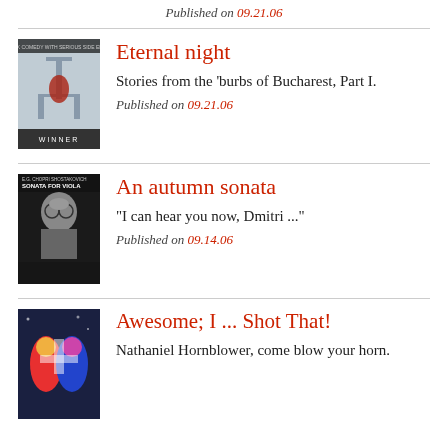Published on 09.21.06
Eternal night
[Figure (photo): Movie poster for Eternal Night - shows medical equipment, labeled WINNER at bottom]
Stories from the 'burbs of Bucharest, Part I.
Published on 09.21.06
An autumn sonata
[Figure (photo): Album cover for Sonata for Viola - black and white photo of a man with glasses]
“I can hear you now, Dmitri ...”
Published on 09.14.06
Awesome; I ... Shot That!
[Figure (photo): Movie poster for Awesome; I Shot That - colorful illustrated figures]
Nathaniel Hornblower, come blow your horn.